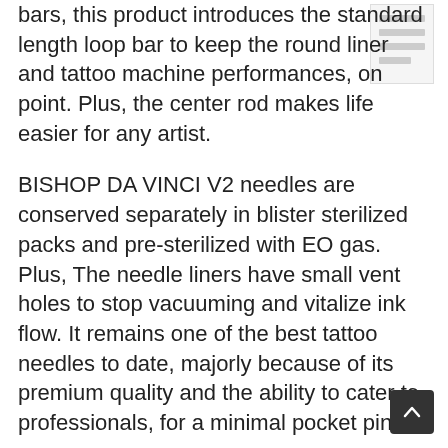bars, this product introduces the standard length loop bar to keep the round liner and tattoo machine performances, on point. Plus, the center rod makes life easier for any artist.
[Figure (other): Small thumbnail image of a product, top right corner]
BISHOP DA VINCI V2 needles are conserved separately in blister sterilized packs and pre-sterilized with EO gas. Plus, The needle liners have small vent holes to stop vacuuming and vitalize ink flow. It remains one of the best tattoo needles to date, majorly because of its premium quality and the ability to cater to professionals, for a minimal pocket pinch.
Finally, this is one of the few tattoo needle sets to come with a high-end plastic membrane whilst featuring medical-grade